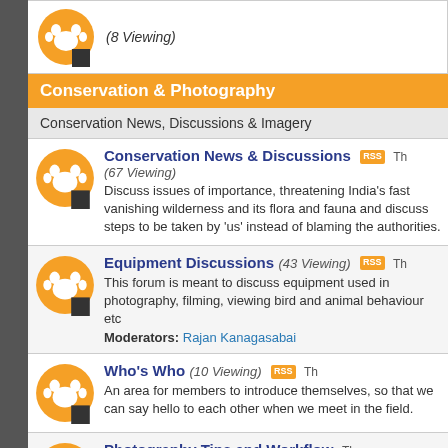[Figure (illustration): Orange paw print icon with black square, partially visible forum row showing (8 Viewing)]
Conservation & Photography
Conservation News, Discussions & Imagery
Conservation News & Discussions (67 Viewing) - Discuss issues of importance, threatening India's fast vanishing wilderness and its flora and fauna and discuss steps to be taken by 'us' instead of blaming the authorities.
Equipment Discussions (43 Viewing) - This forum is meant to discuss equipment used in photography, filming, viewing bird and animal behaviour etc. Moderators: Rajan Kanagasabai
Who's Who (10 Viewing) - An area for members to introduce themselves, so that we can say hello to each other when we meet in the field.
Photography Tips and Workflow (1 Viewing) - Tips to Improve your Photographic Skills and workflow.